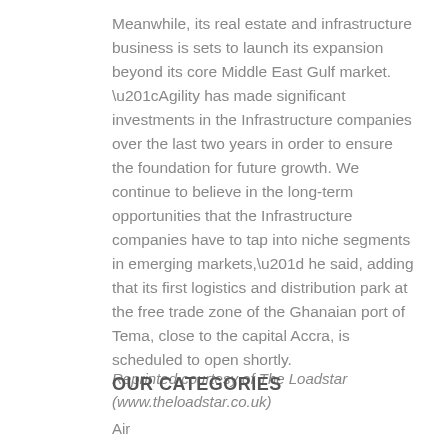Meanwhile, its real estate and infrastructure business is sets to launch its expansion beyond its core Middle East Gulf market. “Agility has made significant investments in the Infrastructure companies over the last two years in order to ensure the foundation for future growth. We continue to believe in the long-term opportunities that the Infrastructure companies have to tap into niche segments in emerging markets,” he said, adding that its first logistics and distribution park at the free trade zone of the Ghanaian port of Tema, close to the capital Accra, is scheduled to open shortly.
Reprinted courtesy of The Loadstar (www.theloadstar.co.uk)
OUR CATEGORIES
Air